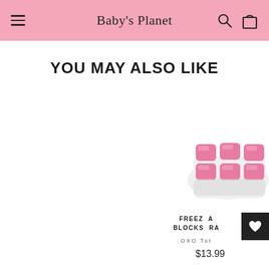Baby's Planet
YOU MAY ALSO LIKE
[Figure (photo): Pink OXO Tot baby food freezer storage blocks/tray with clear bottom and pink lids, grid of 6 compartments]
FREEZ A BLOCKS RA
OXO Tot
$13.99